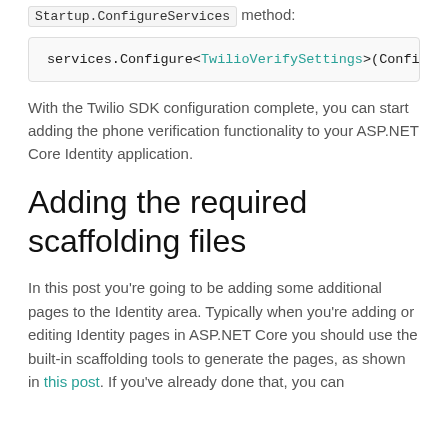Startup.ConfigureServices method:
services.Configure<TwilioVerifySettings>(Config
With the Twilio SDK configuration complete, you can start adding the phone verification functionality to your ASP.NET Core Identity application.
Adding the required scaffolding files
In this post you're going to be adding some additional pages to the Identity area. Typically when you're adding or editing Identity pages in ASP.NET Core you should use the built-in scaffolding tools to generate the pages, as shown in this post. If you've already done that, you can